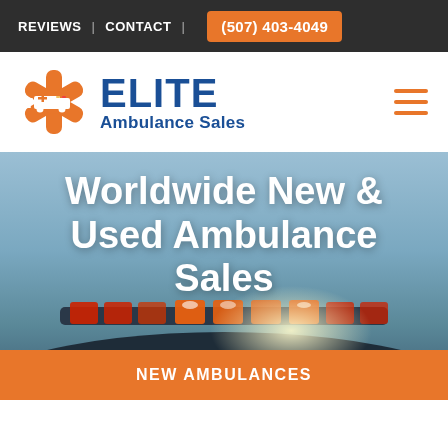REVIEWS | CONTACT | (507) 403-4049
[Figure (logo): Elite Ambulance Sales logo with orange star-of-life icon and blue text reading ELITE Ambulance Sales]
Worldwide New & Used Ambulance Sales
[Figure (photo): Background photo of ambulance roof with red and orange emergency lights against a blue sky]
NEW AMBULANCES